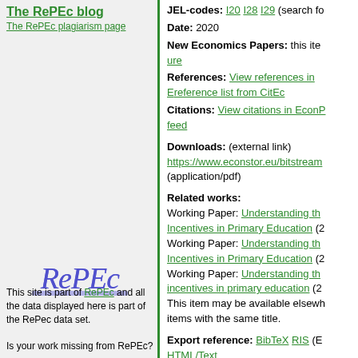The RePEc blog
The RePEc plagiarism page
JEL-codes: I20 I28 I29 (search for similar items in EconPapers)
Date: 2020
New Economics Papers: this item is included in nep-edu and nep-eur
References: View references in EconPapers View complete reference list from CitEc
Citations: View citations in EconPapers feed
Downloads: (external link) https://www.econstor.eu/bitstream/... (application/pdf)
Related works: Working Paper: Understanding the... Incentives in Primary Education (2...) Working Paper: Understanding th... Incentives in Primary Education (2...) Working Paper: Understanding th... incentives in primary education (2...) This item may be available elsewhere in EconPapers: Search for items with the same title.
Export reference: BibTeX RIS (EndNote, ProCite, RefMan) HTML/Text
Persistent link: https://EconPapers.repec.org/ReP...
[Figure (logo): RePEc logo — italic serif text with blue-purple underline highlight]
This site is part of RePEc and all the data displayed here is part of the RePec data set.
Is your work missing from RePEc?